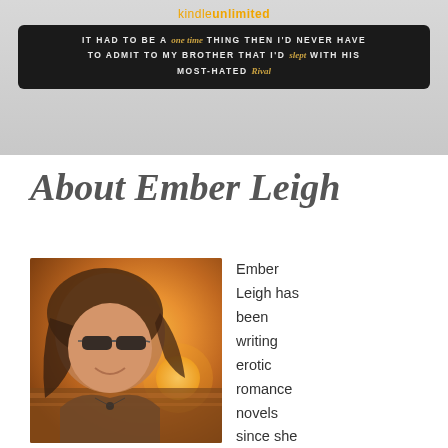[Figure (other): Kindle Unlimited banner advertisement with dark background and text: 'IT HAD TO BE A one time THING THEN I'D NEVER HAVE TO ADMIT TO MY BROTHER THAT I'D slept WITH HIS MOST-HATED Rival']
About Ember Leigh
[Figure (photo): Outdoor selfie photo of a woman wearing sunglasses with long hair, taken near the ocean at sunset/sunrise with warm golden light]
Ember Leigh has been writing erotic romance novels since she was far